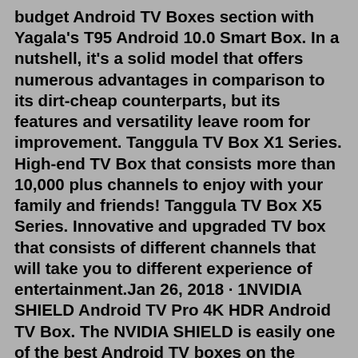budget Android TV Boxes section with Yagala's T95 Android 10.0 Smart Box. In a nutshell, it's a solid model that offers numerous advantages in comparison to its dirt-cheap counterparts, but its features and versatility leave room for improvement. Tanggula TV Box X1 Series. High-end TV Box that consists more than 10,000 plus channels to enjoy with your family and friends! Tanggula TV Box X5 Series. Innovative and upgraded TV box that consists of different channels that will take you to different experience of entertainment.Jan 26, 2018 · 1NVIDIA SHIELD Android TV Pro 4K HDR Android TV Box. The NVIDIA SHIELD is easily one of the best Android TV boxes on the market. Made by the same company that produces the world's best graphics cards, this TV box is the ultimate way to bring 4K android streaming to your TV. It enhances HD video to 4K, has 3GB of RAM, and 16GB built-in storage. Latest Android 9.0 OS & Cortex-A55 CPU Tanggula Android tv box adopts the latest Android 9.0 OS